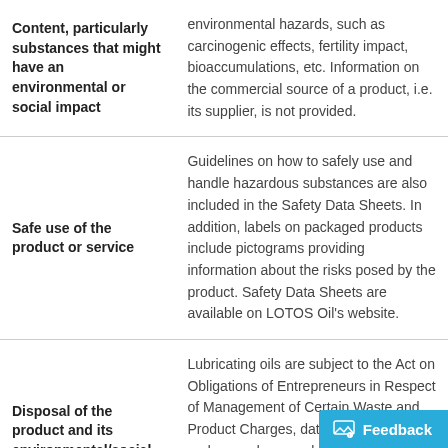| Topic | Description |
| --- | --- |
| Content, particularly substances that might have an environmental or social impact | environmental hazards, such as carcinogenic effects, fertility impact, bioaccumulations, etc. Information on the commercial source of a product, i.e. its supplier, is not provided. |
| Safe use of the product or service | Guidelines on how to safely use and handle hazardous substances are also included in the Safety Data Sheets. In addition, labels on packaged products include pictograms providing information about the risks posed by the product. Safety Data Sheets are available on LOTOS Oil's website. |
| Disposal of the product and its environmental/social impact | Lubricating oils are subject to the Act on Obligations of Entrepreneurs in Respect of Management of Certain Waste and Product Charges, dated May 11th 2001 and secondary regulations, and thus are collected and transferred for disposal in quantities required by the Act. |
|  | In line with LOTOS Oil's product policy, products marketed by the statutory requireme... |